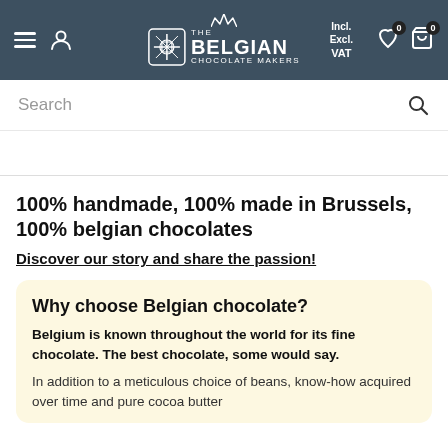The Belgian Chocolate Makers — Navigation bar with logo, search, wishlist, cart, Incl./Excl. VAT toggle
Search
100% handmade, 100% made in Brussels, 100% belgian chocolates
Discover our story and share the passion!
Why choose Belgian chocolate?
Belgium is known throughout the world for its fine chocolate. The best chocolate, some would say.
In addition to a meticulous choice of beans, know-how acquired over time and pure cocoa butter